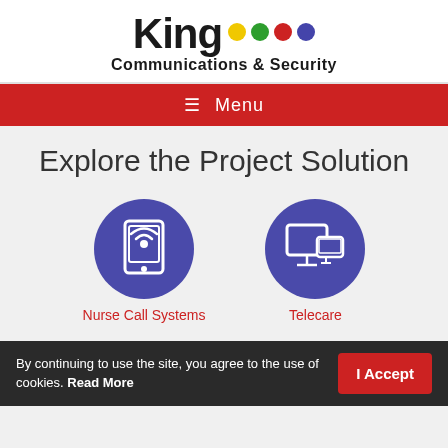[Figure (logo): King Communications & Security logo with colorful dots (yellow, green, red, blue)]
≡ Menu
Explore the Project Solution
[Figure (infographic): Two circular icons: Nurse Call Systems (tablet with wifi icon) and Telecare (monitor/screen icon), both on blue circles]
Nurse Call Systems
Telecare
By continuing to use the site, you agree to the use of cookies. Read More  I Accept